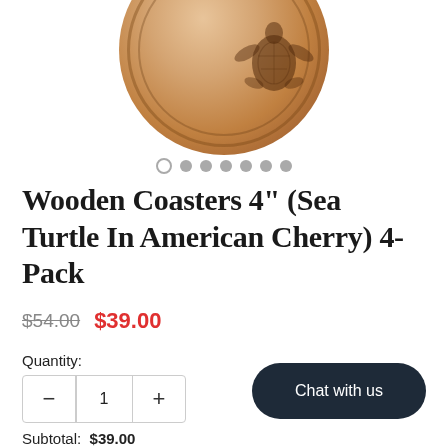[Figure (photo): Wooden coaster with sea turtle engraving on American Cherry wood, circular shape, shown from above. Image is cropped at top.]
Wooden Coasters 4" (Sea Turtle In American Cherry) 4-Pack
$54.00  $39.00
Quantity:
1
Chat with us
Subtotal:  $39.00